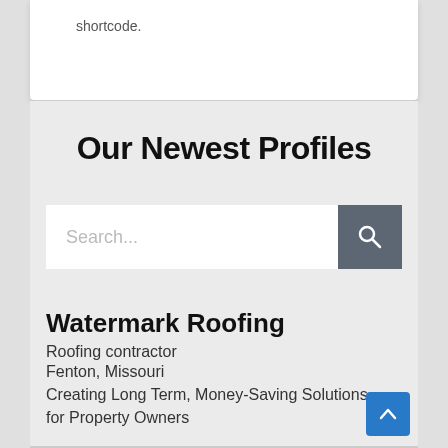shortcode.
Our Newest Profiles
[Figure (screenshot): Search bar with placeholder text 'Search...' and a dark gray search button with magnifying glass icon]
Watermark Roofing
Roofing contractor
Fenton, Missouri
Creating Long Term, Money-Saving Solutions for Property Owners